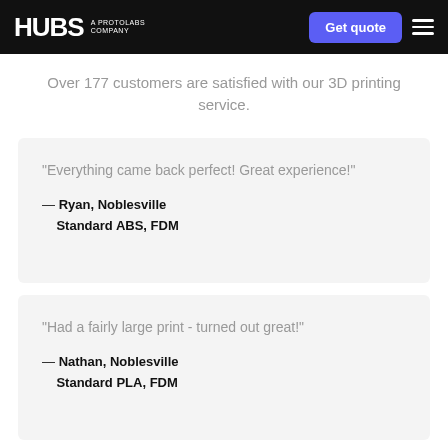HUBS A PROTOLABS COMPANY | Get quote
Over 177 customers are satisfied with our 3D printing service.
“Everything came back perfect! Great experience!” — Ryan, Noblesville Standard ABS, FDM
“Had a fairly large print - turned out great!” — Nathan, Noblesville Standard PLA, FDM